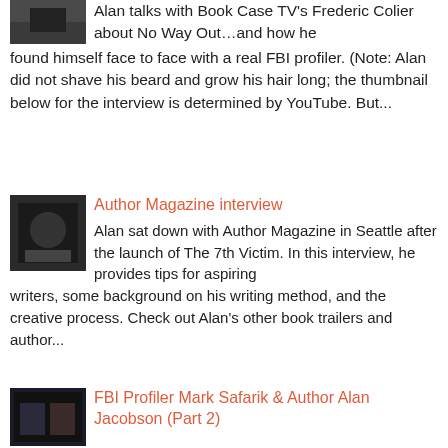Alan talks with Book Case TV's Frederic Colier about No Way Out…and how he found himself face to face with a real FBI profiler. (Note: Alan did not shave his beard and grow his hair long; the thumbnail below for the interview is determined by YouTube. But...
[Figure (photo): Thumbnail image for Book Case TV interview video]
Author Magazine interview
Alan sat down with Author Magazine in Seattle after the launch of The 7th Victim. In this interview, he provides tips for aspiring writers, some background on his writing method, and the creative process. Check out Alan's other book trailers and author...
[Figure (photo): Thumbnail image for Author Magazine interview]
FBI Profiler Mark Safarik & Author Alan Jacobson (Part 2)
[Figure (photo): Thumbnail image for FBI Profiler Mark Safarik & Author Alan Jacobson video]